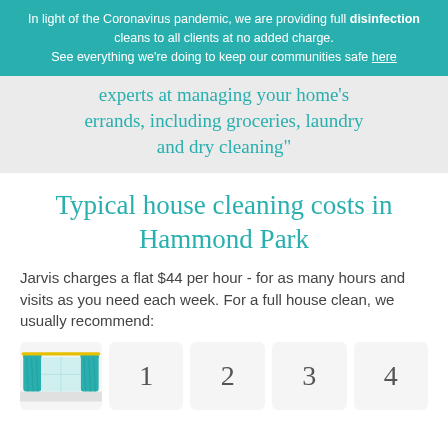In light of the Coronavirus pandemic, we are providing full disinfection cleans to all clients at no added charge. See everything we're doing to keep our communities safe here
experts at managing your home's errands, including groceries, laundry and dry cleaning"
Typical house cleaning costs in Hammond Park
Jarvis charges a flat $44 per hour - for as many hours and visits as you need each week. For a full house clean, we usually recommend:
[Figure (illustration): Curtain illustration for bedroom/room cleaning category card]
1
2
3
4